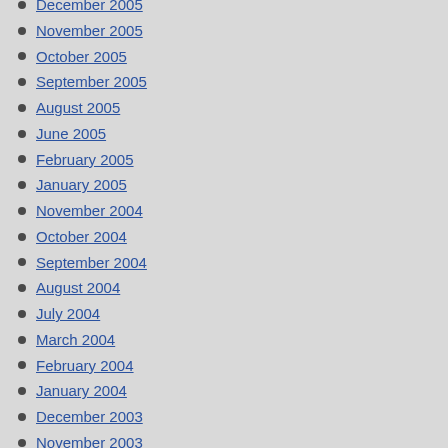December 2005
November 2005
October 2005
September 2005
August 2005
June 2005
February 2005
January 2005
November 2004
October 2004
September 2004
August 2004
July 2004
March 2004
February 2004
January 2004
December 2003
November 2003
October 2003
September 2003
August 2003
July 2003
June 2003